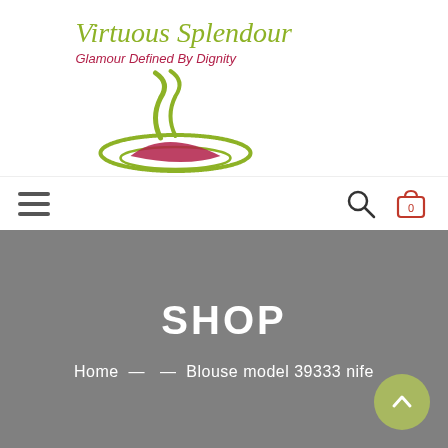[Figure (logo): Virtuous Splendour logo with steam and swoosh graphic, brand name in olive/yellow-green italic serif font, tagline in crimson italic font reading 'Glamour Defined By Dignity']
[Figure (infographic): Navigation bar with hamburger menu icon on left, search icon and cart icon (showing 0) on right]
SHOP
Home — — Blouse model 39333 nife